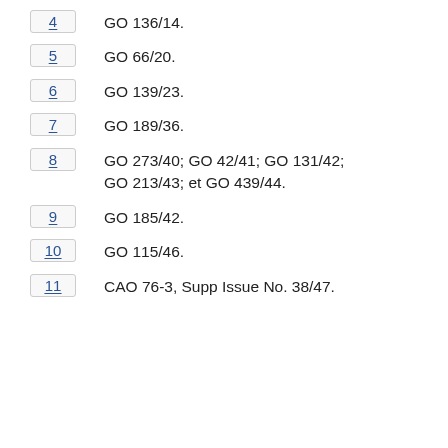4   GO 136/14.
5   GO 66/20.
6   GO 139/23.
7   GO 189/36.
8   GO 273/40; GO 42/41; GO 131/42; GO 213/43; et GO 439/44.
9   GO 185/42.
10   GO 115/46.
11   CAO 76-3, Supp Issue No. 38/47.